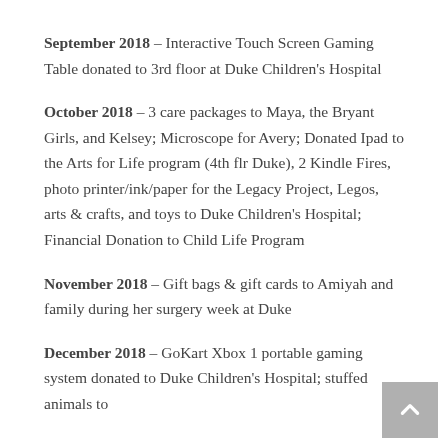September 2018 – Interactive Touch Screen Gaming Table donated to 3rd floor at Duke Children's Hospital
October 2018 – 3 care packages to Maya, the Bryant Girls, and Kelsey; Microscope for Avery; Donated Ipad to the Arts for Life program (4th flr Duke), 2 Kindle Fires, photo printer/ink/paper for the Legacy Project, Legos, arts & crafts, and toys to Duke Children's Hospital; Financial Donation to Child Life Program
November 2018 – Gift bags & gift cards to Amiyah and family during her surgery week at Duke
December 2018 – GoKart Xbox 1 portable gaming system donated to Duke Children's Hospital; stuffed animals to